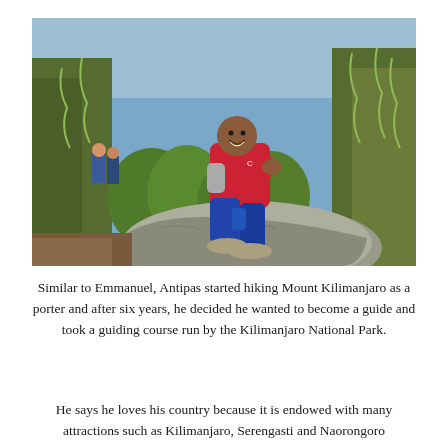[Figure (photo): A young man in a red shirt and black pants squatting on a large rock in a mountainous forest setting, likely on Mount Kilimanjaro. He is smiling. Green trees and other hikers are visible in the background.]
Similar to Emmanuel, Antipas started hiking Mount Kilimanjaro as a porter and after six years, he decided he wanted to become a guide and took a guiding course run by the Kilimanjaro National Park.
He says he loves his country because it is endowed with many attractions such as Kilimanjaro, Serengasti and Naorongoro